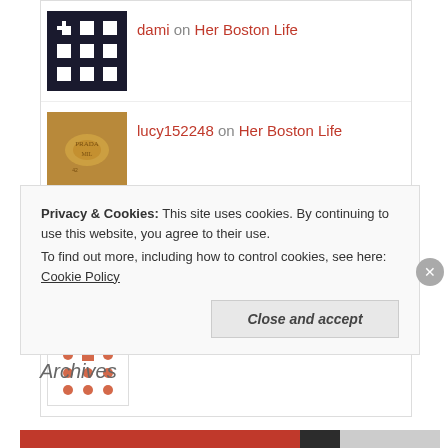dami on Her Boston Life
lucy152248 on Her Boston Life
lucy152248 on Her Boston Life
mengleihan on Her Boston Life
Archives
Privacy & Cookies: This site uses cookies. By continuing to use this website, you agree to their use.
To find out more, including how to control cookies, see here: Cookie Policy
Close and accept